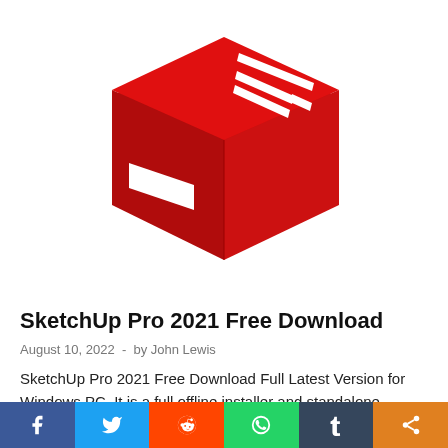[Figure (logo): SketchUp Pro red 3D cube logo on white background]
SketchUp Pro 2021 Free Download
August 10, 2022  -  by John Lewis
SketchUp Pro 2021 Free Download Full Latest Version for Windows PC. It is a full offline installer and standalone setup. This is full...